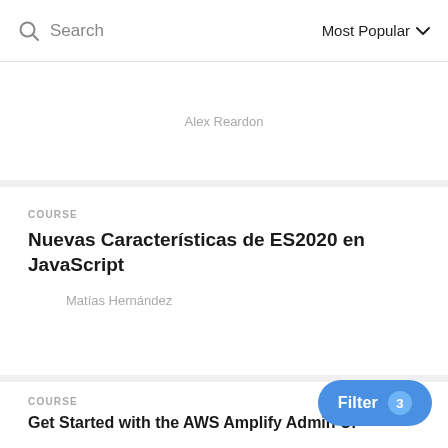Search   Most Popular
Alex Reardon
COURSE
Nuevas Características de ES2020 en JavaScript
Matías Hernández
COURSE
Get Started with the AWS Amplify Admin UI
Ali Spittel